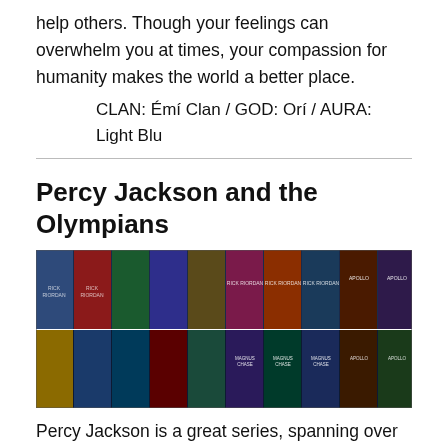help others. Though your feelings can overwhelm you at times, your compassion for humanity makes the world a better place.
CLAN: Émí Clan / GOD: Orí / AURA: Light Blu
Percy Jackson and the Olympians
[Figure (photo): A collage of Percy Jackson book covers spanning multiple series including Percy Jackson and the Olympians, The Heroes of Olympus, Magnus Chase, and The Trials of Apollo — approximately 20 book covers arranged in two rows.]
Percy Jackson is a great series, spanning over 15 books, 3 series, and honestly there are just as many people with